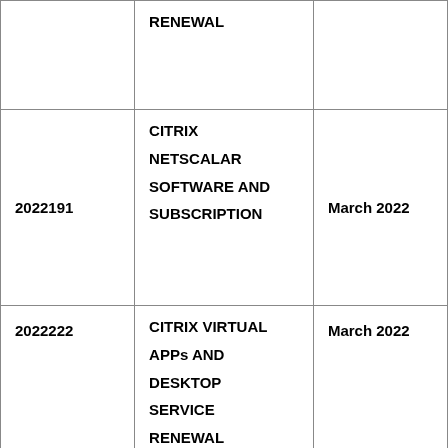|  | RENEWAL |  |
| 2022191 | CITRIX NETSCALAR SOFTWARE AND SUBSCRIPTION | March 2022 |
| 2022222 | CITRIX VIRTUAL APPs AND DESKTOP SERVICE RENEWAL | March 2022 |